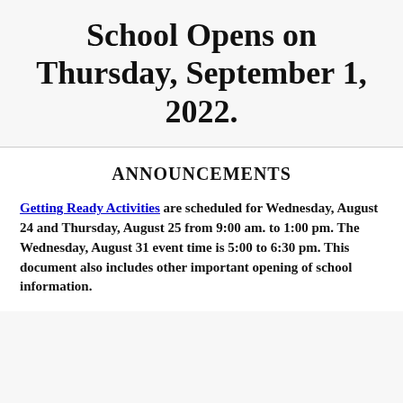School Opens on Thursday, September 1, 2022.
ANNOUNCEMENTS
Getting Ready Activities are scheduled for Wednesday, August 24 and Thursday, August 25 from 9:00 am. to 1:00 pm. The Wednesday, August 31 event time is 5:00 to 6:30 pm. This document also includes other important opening of school information.